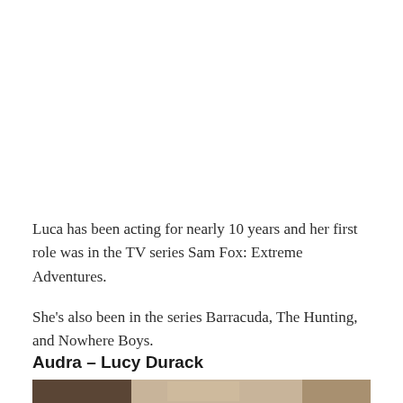Luca has been acting for nearly 10 years and her first role was in the TV series Sam Fox: Extreme Adventures.
She's also been in the series Barracuda, The Hunting, and Nowhere Boys.
Audra – Lucy Durack
[Figure (photo): Partial photo of two people, bottom portion of the page, cropped at bottom edge]